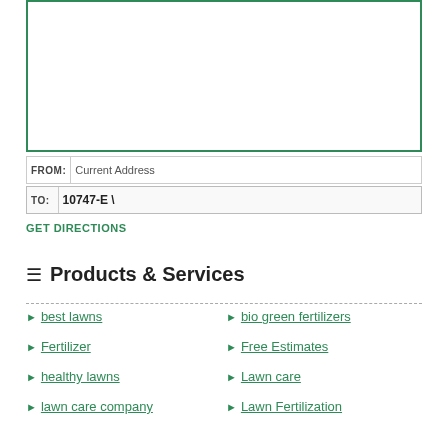[Figure (other): Map area with green border showing directions interface]
FROM: Current Address
TO: 10747-E \
GET DIRECTIONS
≡ Products & Services
best lawns
bio green fertilizers
Fertilizer
Free Estimates
healthy lawns
Lawn care
lawn care company
Lawn Fertilization